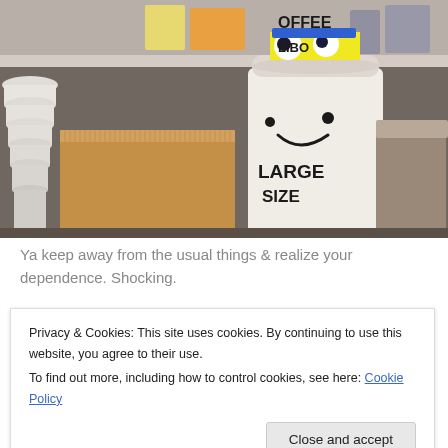[Figure (photo): Photo of a decorated coffee cup with googly eyes and text reading 'COFFEE LARGE SIZE' on it, sitting on a shelf next to a cardboard box and stack of white cups]
Ya keep away from the usual things & realize your dependence. Shocking.
Privacy & Cookies: This site uses cookies. By continuing to use this website, you agree to their use. To find out more, including how to control cookies, see here: Cookie Policy
but I was so aware of a really fantastic shift. My body